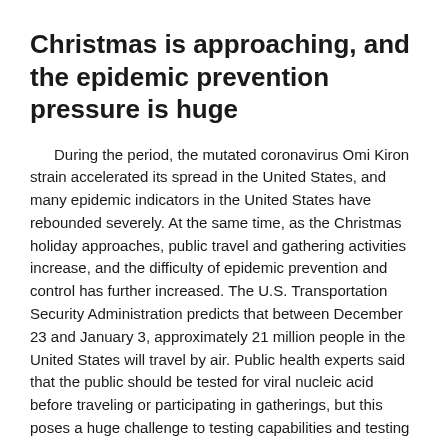Christmas is approaching, and the epidemic prevention pressure is huge
During the period, the mutated coronavirus Omi Kiron strain accelerated its spread in the United States, and many epidemic indicators in the United States have rebounded severely. At the same time, as the Christmas holiday approaches, public travel and gathering activities increase, and the difficulty of epidemic prevention and control has further increased. The U.S. Transportation Security Administration predicts that between December 23 and January 3, approximately 21 million people in the United States will travel by air. Public health experts said that the public should be tested for viral nucleic acid before traveling or participating in gatherings, but this poses a huge challenge to testing capabilities and testing resources.
The United Kingdom reported on the 22nd that there were more than 100,000 new confirmed cases of coronavirus in a single day, a record high since the epidemic. Many tourist attractions, bars and restaurants in the UK have been temporarily closed, and many people have cancelled Christmas